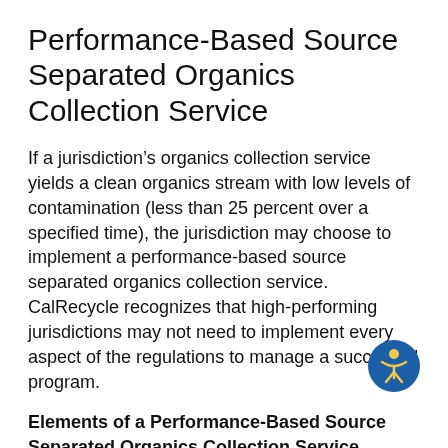Performance-Based Source Separated Organics Collection Service
If a jurisdiction’s organics collection service yields a clean organics stream with low levels of contamination (less than 25 percent over a specified time), the jurisdiction may choose to implement a performance-based source separated organics collection service. CalRecycle recognizes that high-performing jurisdictions may not need to implement every aspect of the regulations to manage a successful program.
Elements of a Performance-Based Source Separated Organics Collection Service
Jurisdictions must provide a three-container